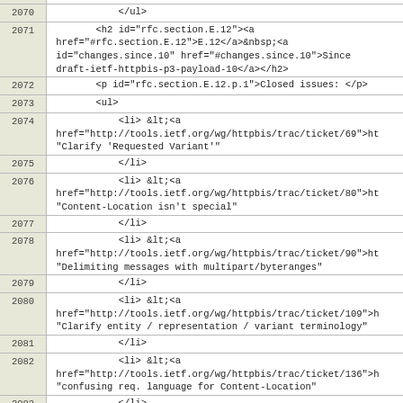2070  </ul>
2071  <h2 id="rfc.section.E.12"><a href="#rfc.section.E.12">E.12</a>&nbsp;<a id="changes.since.10" href="#changes.since.10">Since draft-ietf-httpbis-p3-payload-10</a></h2>
2072  <p id="rfc.section.E.12.p.1">Closed issues: </p>
2073  <ul>
2074  <li> &lt;<a href="http://tools.ietf.org/wg/httpbis/trac/ticket/69">ht "Clarify 'Requested Variant'"
2075  </li>
2076  <li> &lt;<a href="http://tools.ietf.org/wg/httpbis/trac/ticket/80">ht "Content-Location isn't special"
2077  </li>
2078  <li> &lt;<a href="http://tools.ietf.org/wg/httpbis/trac/ticket/90">ht "Delimiting messages with multipart/byteranges"
2079  </li>
2080  <li> &lt;<a href="http://tools.ietf.org/wg/httpbis/trac/ticket/109">h "Clarify entity / representation / variant terminology"
2081  </li>
2082  <li> &lt;<a href="http://tools.ietf.org/wg/httpbis/trac/ticket/136">h "confusing req. language for Content-Location"
2083  </li>
2084  <li> &lt;<a href="http://tools.ietf.org/wg/httpbis/trac/ticket/167">h "Content-Location on 304 responses"
2085  </li>
2086  <li> &lt;<a href="http://tools.ietf.org/wg/httpbis/trac/ticket/183">h "'requested resource' in content-encoding definition"